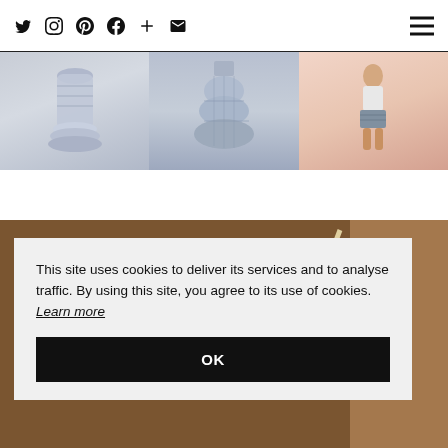Social icons: Twitter, Instagram, Pinterest, Facebook, Plus, Email | Hamburger menu
[Figure (photo): Fashion blog header showing three clothing items: a blue-grey striped ruffle blouse, a gingham/striped tiered skirt, and a woman wearing striped shorts]
[Figure (photo): Street style photo of a woman with dark hair wearing red earrings, standing in front of a Calypso store with brick background]
This site uses cookies to deliver its services and to analyse traffic. By using this site, you agree to its use of cookies. Learn more
OK